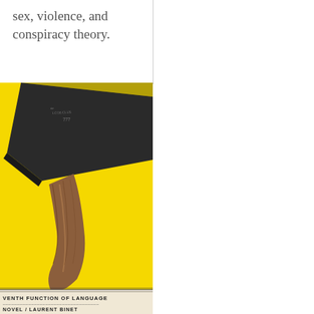sex, violence, and conspiracy theory.
[Figure (illustration): Book cover of 'The Seventh Function of Language' by Laurent Binet, translated by Sam Taylor. Yellow background with a large axe (dark metal head with '777' stamped on it and a brown wooden handle). Bottom shows title text: 'VENTH FUNCTION OF LANGUAGE / NOVEL / LAURENT BINET / NSLATED BY SAM TAYLOR' on a cream/beige banner.]